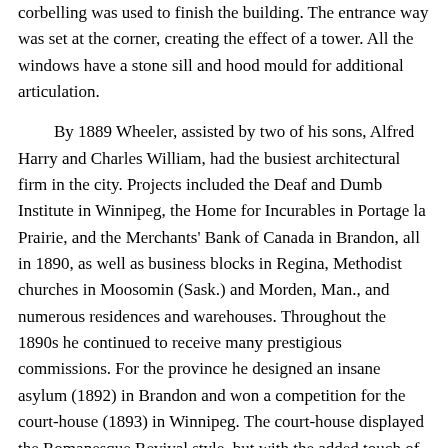corbelling was used to finish the building. The entrance way was set at the corner, creating the effect of a tower. All the windows have a stone sill and hood mould for additional articulation.
By 1889 Wheeler, assisted by two of his sons, Alfred Harry and Charles William, had the busiest architectural firm in the city. Projects included the Deaf and Dumb Institute in Winnipeg, the Home for Incurables in Portage la Prairie, and the Merchants' Bank of Canada in Brandon, all in 1890, as well as business blocks in Regina, Methodist churches in Moosomin (Sask.) and Morden, Man., and numerous residences and warehouses. Throughout the 1890s he continued to receive many prestigious commissions. For the province he designed an insane asylum (1892) in Brandon and won a competition for the court-house (1893) in Winnipeg. The court-house displayed the Romanesque Revival style, but with the added touch of a red brick finish and limestone highlights. This same style was used for two identical buildings – the Argyle Street and Dufferin schools – which